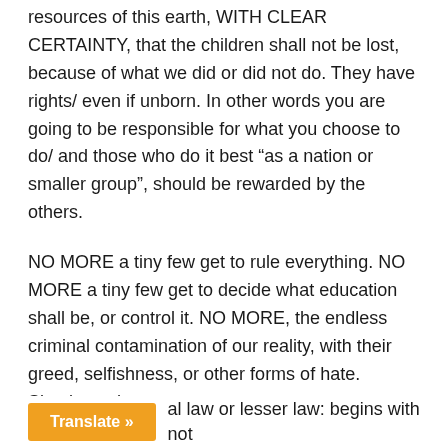resources of this earth, WITH CLEAR CERTAINTY, that the children shall not be lost, because of what we did or did not do. They have rights/ even if unborn. In other words you are going to be responsible for what you choose to do/ and those who do it best “as a nation or smaller group”, should be rewarded by the others.
NO MORE a tiny few get to rule everything. NO MORE a tiny few get to decide what education shall be, or control it. NO MORE, the endless criminal contamination of our reality, with their greed, selfishness, or other forms of hate. Simple as that.
al law or lesser law: begins with not